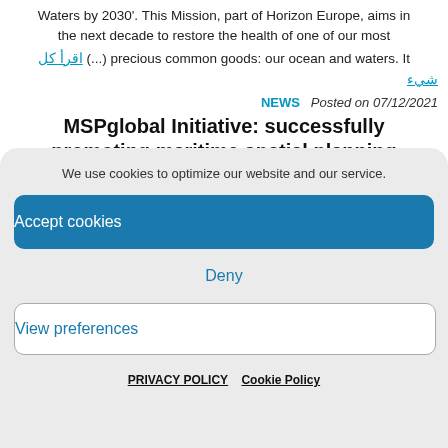Waters by 2030'. This Mission, part of Horizon Europe, aims in the next decade to restore the health of one of our most اقرأ كل (...) precious common goods: our ocean and waters. It
شيء
NEWS   Posted on 07/12/2021
MSPglobal Initiative: successfully promoting maritime spatial planning
We use cookies to optimize our website and our service.
Accept cookies
Deny
View preferences
PRIVACY POLICY   Cookie Policy